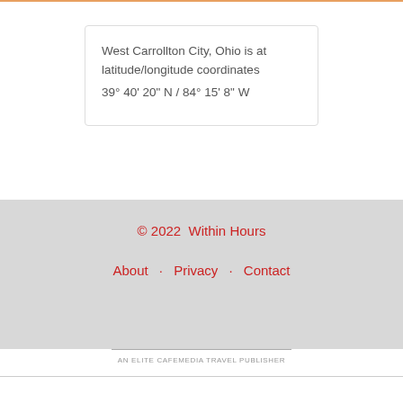West Carrollton City, Ohio is at latitude/longitude coordinates 39° 40' 20" N  /  84° 15' 8" W
© 2022  Within Hours
About  ·  Privacy  ·  Contact
AN ELITE CAFEMEDIA TRAVEL PUBLISHER